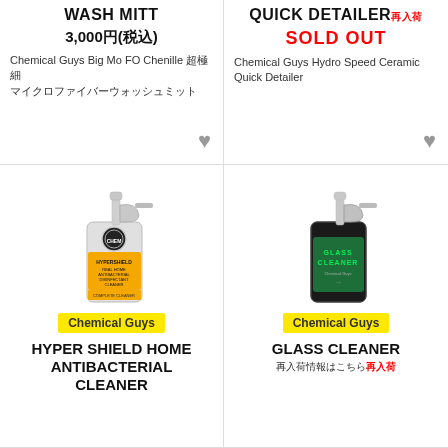WASH MITT
3,000円(税込)
Chemical Guys Big Mo FO Chenille 超極細マイクロファイバーウォッシュミット
QUICK DETAILER 再入荷
SOLD OUT
Chemical Guys Hydro Speed Ceramic Quick Detailer
[Figure (photo): Chemical Guys HyperShield spray bottle with yellow label]
Chemical Guys
HYPER SHIELD HOME ANTIBACTERIAL CLEANER
[Figure (photo): Chemical Guys Glass Cleaner spray bottle with black and green label]
Chemical Guys
GLASS CLEANER
再入荷情報はこちら 再入荷